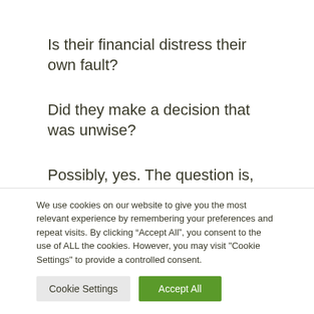Is their financial distress their own fault?
Did they make a decision that was unwise?
Possibly, yes. The question is, “Do you care?”
You need to decide before you engage whether the difference between a poor financial or life
We use cookies on our website to give you the most relevant experience by remembering your preferences and repeat visits. By clicking “Accept All”, you consent to the use of ALL the cookies. However, you may visit “Cookie Settings” to provide a controlled consent.